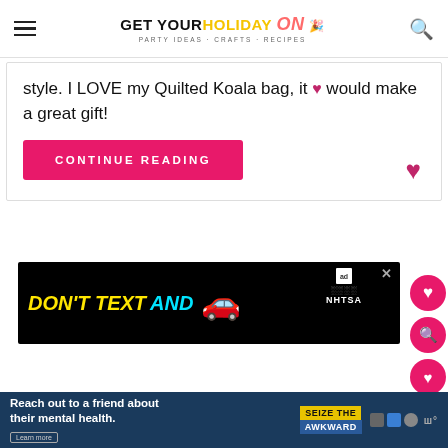GET YOUR HOLIDAY on - PARTY IDEAS · CRAFTS · RECIPES
style. I LOVE my Quilted Koala bag, it would make a great gift!
CONTINUE READING
[Figure (screenshot): Advertisement banner: DON'T TEXT AND [car emoji] - NHTSA ad on black background]
[Figure (screenshot): Bottom advertisement bar: Reach out to a friend about their mental health. SEIZE THE AWKWARD. Learn more.]